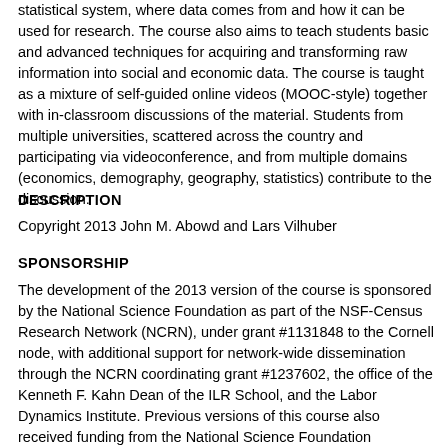statistical system, where data comes from and how it can be used for research. The course also aims to teach students basic and advanced techniques for acquiring and transforming raw information into social and economic data. The course is taught as a mixture of self-guided online videos (MOOC-style) together with in-classroom discussions of the material. Students from multiple universities, scattered across the country and participating via videoconference, and from multiple domains (economics, demography, geography, statistics) contribute to the discussion.
DESCRIPTION
Copyright 2013 John M. Abowd and Lars Vilhuber
SPONSORSHIP
The development of the 2013 version of the course is sponsored by the National Science Foundation as part of the NSF-Census Research Network (NCRN), under grant #1131848 to the Cornell node, with additional support for network-wide dissemination through the NCRN coordinating grant #1237602, the office of the Kenneth F. Kahn Dean of the ILR School, and the Labor Dynamics Institute. Previous versions of this course also received funding from the National Science Foundation Information Technologies Research Program under grant